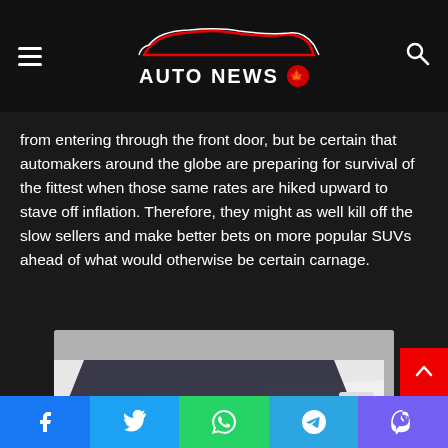AUTO NEWS
from entering through the front door, but be certain that automakers around the globe are preparing for survival of the fittest when those same rates are hiked upward to stave off inflation. Therefore, they might as well kill off the slow sellers and make better bets on more popular SUVs ahead of what would otherwise be certain carnage.
[Figure (photo): Close-up front-quarter view of a white Buick Enclave (or similar GM SUV) showing the front bumper, headlight, grille, and alloy wheel on a grey pavement background.]
The optional 20-inch alloy wheels...
Facebook | Twitter | WhatsApp | Telegram | Viber social sharing bar